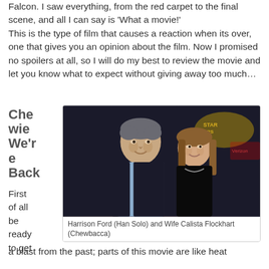Falcon.  I saw everything, from the red carpet to the final scene, and all I can say is 'What a movie!' This is the type of film that causes a reaction when its over, one that gives you an opinion about the film. Now I promised no spoilers at all, so I will do my best to review the movie and let you know what to expect without giving away too much…
Chewie We're Back
[Figure (photo): Harrison Ford (Han Solo) and Wife Calista Flockhart (Chewbacca) at what appears to be a Star Wars premiere event]
Harrison Ford (Han Solo) and Wife Calista Flockhart (Chewbacca)
First of all be ready to get a blast from the past; parts of this movie are like heat